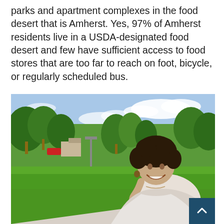parks and apartment complexes in the food desert that is Amherst. Yes, 97% of Amherst residents live in a USDA-designated food desert and few have sufficient access to food stores that are too far to reach on foot, bicycle, or regularly scheduled bus.
[Figure (photo): A young woman with curly dark hair, smiling and resting her chin on her hand, sitting outdoors in a green park with trees and a bright sky in the background. A teal 'back to top' button appears in the bottom right corner of the image.]